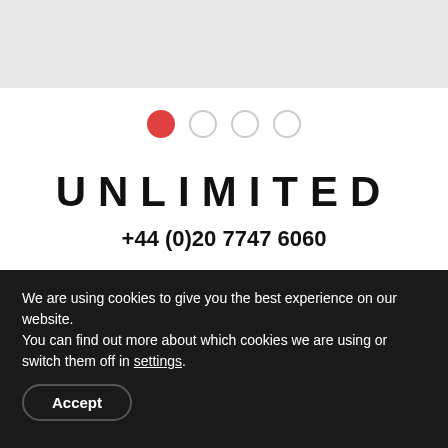[Figure (other): Gray banner/header bar at top of page]
[Figure (other): Carousel indicator dots — one red filled dot followed by three empty circle dots]
UNLIMITED
+44 (0)20 7747 6060
First Floor, Orion House, 5 Upper St Martins Lane, London, WC2H 9EA
We are using cookies to give you the best experience on our website.
You can find out more about which cookies we are using or switch them off in settings.
Accept